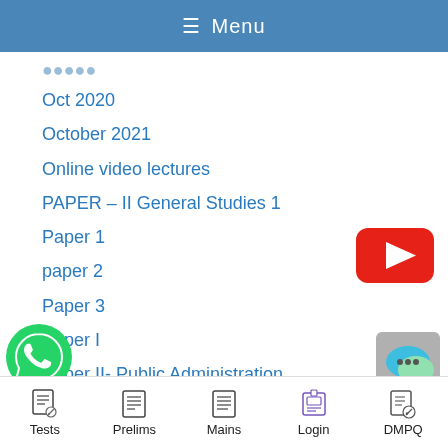Menu
Oct 2020
October 2021
Online video lectures
PAPER – II General Studies 1
Paper 1
paper 2
Paper 3
Paper I
Paper II- Public Administration
Paper V
aper V General Studies IV
[Figure (logo): YouTube play button red logo]
[Figure (logo): WhatsApp green phone logo]
[Figure (logo): Chat bubble icon with grey background]
Tests   Prelims   Mains   Login   DMPQ